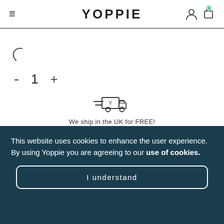YOPPIE
[Figure (illustration): Loading spinner arc icon, partial circle]
- 1 +
[Figure (illustration): Delivery truck icon with speed lines and Y letter on the truck body]
We ship in the UK for FREE!
This website uses cookies to enhance the user experience. By using Yoppie you are agreeing to our use of cookies.
I understand